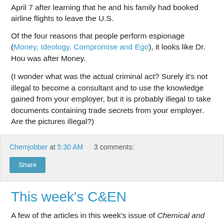April 7 after learning that he and his family had booked airline flights to leave the U.S.
Of the four reasons that people perform espionage (Money, Ideology, Compromise and Ego), it looks like Dr. Hou was after Money.
(I wonder what was the actual criminal act? Surely it's not illegal to become a consultant and to use the knowledge gained from your employer, but it is probably illegal to take documents containing trade secrets from your employer. Are the pictures illegal?)
Chemjobber at 5:30 AM   3 comments:
Share
This week's C&EN
A few of the articles in this week's issue of Chemical and